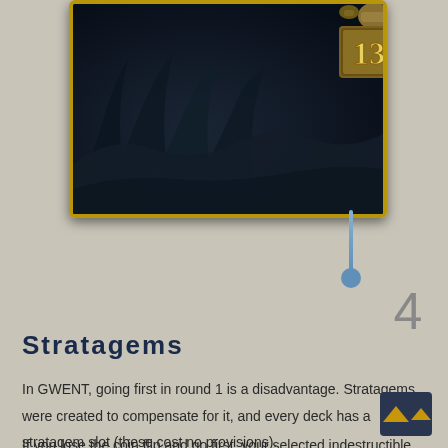[Figure (illustration): A dark fantasy trading card showing shadowy claw-like shapes on a dark blue-black background with a golden border. The card has a provisions cost badge showing '13' in gold in the top-right corner, connected by a blue line to the number '4' below the card.]
Stratagems
In GWENT, going first in round 1 is a disadvantage. Stratagems were created to compensate for it, and every deck has a stratagem slot (these cost no provisions).
If you lose the coin flip and go first, your selected indestructible